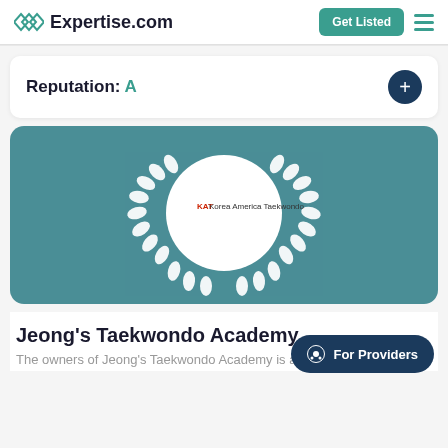Expertise.com
Reputation: A
[Figure (logo): Korea America Taekwondo logo inside a white circle surrounded by a white laurel wreath on a teal background]
Jeong's Taekwondo Academy
The owners of Jeong's Taekwondo Academy is a four
For Providers